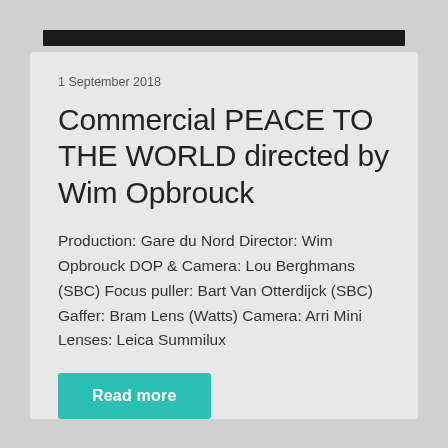[Figure (other): Dark horizontal bar at top of page]
1 September 2018
Commercial PEACE TO THE WORLD directed by Wim Opbrouck
Production: Gare du Nord Director: Wim Opbrouck DOP & Camera: Lou Berghmans (SBC) Focus puller: Bart Van Otterdijck (SBC) Gaffer: Bram Lens (Watts) Camera: Arri Mini Lenses: Leica Summilux
Read more